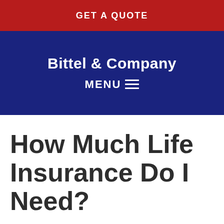GET A QUOTE
Bittel & Company
MENU
How Much Life Insurance Do I Need?